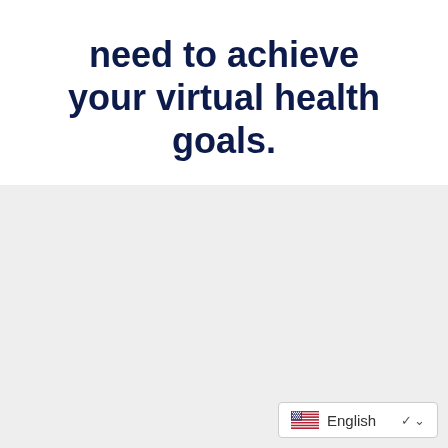need to achieve your virtual health goals.
[Figure (other): Language selector widget with US flag showing 'English' with a dropdown chevron, positioned at bottom right of a light grey section]